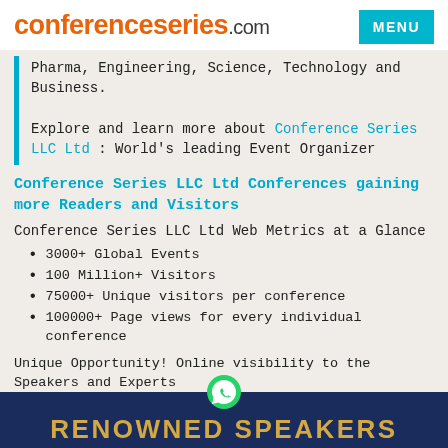conferenceseries.com
Pharma, Engineering, Science, Technology and Business.
Explore and learn more about Conference Series LLC Ltd : World's leading Event Organizer
Conference Series LLC Ltd Conferences gaining more Readers and Visitors
Conference Series LLC Ltd Web Metrics at a Glance
3000+ Global Events
100 Million+ Visitors
75000+ Unique visitors per conference
100000+ Page views for every individual conference
Unique Opportunity! Online visibility to the Speakers and Experts
RENOWNED SPEAKERS